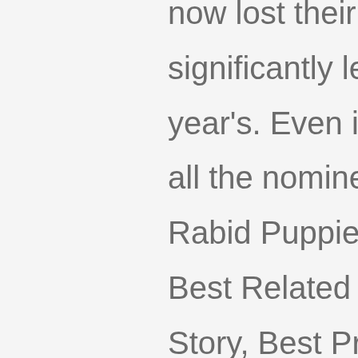now lost their chance. But it's significantly less terrible than last year's. Even in the categories where all the nominees were slated by the Rabid Puppies (Best Short Story, Best Related Work, Best Graphic Story, Best Professional Artist, Best Fanzine, and Best Fancast), the nominees are not as obviously ridiculous as they were last year (with the obvious exception of Best Related Work and Best Short Story). In most of the categories dominated by puppy choices